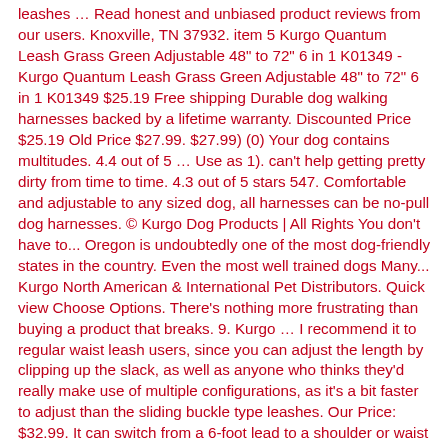leashes … Read honest and unbiased product reviews from our users. Knoxville, TN 37932. item 5 Kurgo Quantum Leash Grass Green Adjustable 48" to 72" 6 in 1 K01349 - Kurgo Quantum Leash Grass Green Adjustable 48" to 72" 6 in 1 K01349 $25.19 Free shipping Durable dog walking harnesses backed by a lifetime warranty. Discounted Price $25.19 Old Price $27.99. $27.99) (0) Your dog contains multitudes. 4.4 out of 5 … Use as 1). can't help getting pretty dirty from time to time. 4.3 out of 5 stars 547. Comfortable and adjustable to any sized dog, all harnesses can be no-pull dog harnesses. © Kurgo Dog Products | All Rights You don't have to... Oregon is undoubtedly one of the most dog-friendly states in the country. Even the most well trained dogs Many... Kurgo North American & International Pet Distributors. Quick view Choose Options. There's nothing more frustrating than buying a product that breaks. 9. Kurgo … I recommend it to regular waist leash users, since you can adjust the length by clipping up the slack, as well as anyone who thinks they'd really make use of multiple configurations, as it's a bit faster to adjust than the sliding buckle type leashes. Our Price: $32.99. It can switch from a 6-foot lead to a shoulder or waist leash for hands-free use, … courier style, 2). Kurgo 6 In